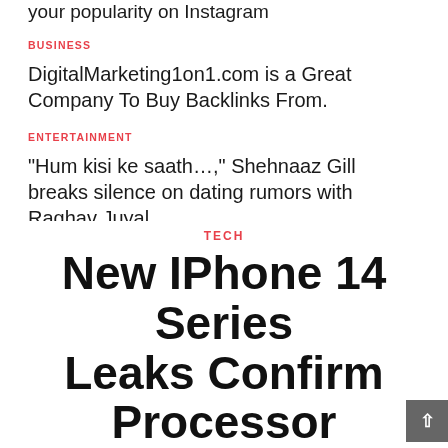your popularity on Instagram
BUSINESS
DigitalMarketing1on1.com is a Great Company To Buy Backlinks From.
ENTERTAINMENT
“Hum kisi ke saath…,” Shehnaaz Gill breaks silence on dating rumors with Raghav Juyal.
ENTERTAINMENT
Today is Day 8 of the Laal Singh Chaddha box office estimate; Do Baaraa and Karthikeya 2 are expected to replace most shows at the box office
TECH
New IPhone 14 Series Leaks Confirm Processor